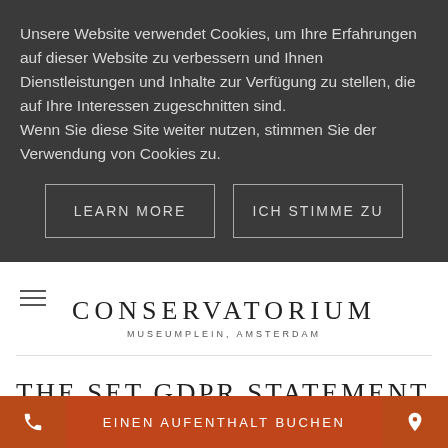Unsere Website verwendet Cookies, um Ihre Erfahrungen auf dieser Website zu verbessern und Ihnen Dienstleistungen und Inhalte zur Verfügung zu stellen, die auf Ihre Interessen zugeschnitten sind. Wenn Sie diese Site weiter nutzen, stimmen Sie der Verwendung von Cookies zu.
LEARN MORE
ICH STIMME ZU
CONSERVATORIUM
MUSEUMPLEIN, AMSTERDAM
THE SET GDPR STATEMENT
EINEN AUFENTHALT BUCHEN